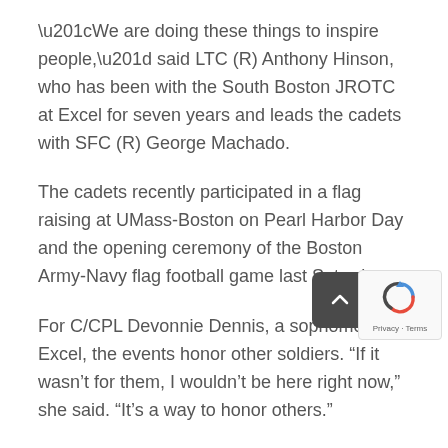“We are doing these things to inspire people,” said LTC (R) Anthony Hinson, who has been with the South Boston JROTC at Excel for seven years and leads the cadets with SFC (R) George Machado.
The cadets recently participated in a flag raising at UMass-Boston on Pearl Harbor Day and the opening ceremony of the Boston Army-Navy flag football game last Saturday.
For C/CPL Devonnie Dennis, a sophomore at Excel, the events honor other soldiers. “If it wasn’t for them, I wouldn’t be here right now,” she said. “It’s a way to honor others.”
C/2LT Aiden Steadman, a junior, has been part of